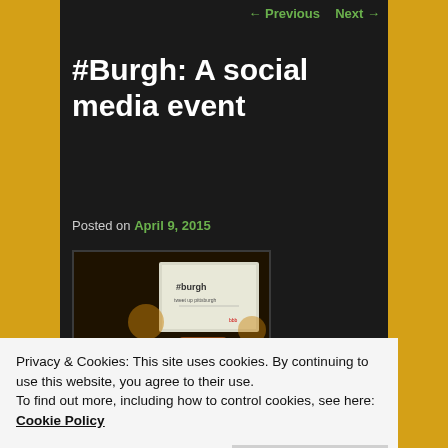← Previous   Next →
#Burgh: A social media event
Posted on April 9, 2015
[Figure (photo): Photo of social media themed chocolate/cookie tiles with icons (Twitter bird, RSS, LinkedIn, Pinterest) and a projected screen showing #Burgh event presentation in the background]
Privacy & Cookies: This site uses cookies. By continuing to use this website, you agree to their use.
To find out more, including how to control cookies, see here: Cookie Policy
drawing an overflow crowd, generating lively discussion